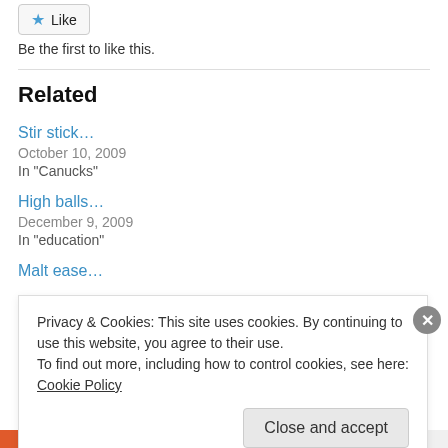Like
Be the first to like this.
Related
Stir stick…
October 10, 2009
In "Canucks"
High balls…
December 9, 2009
In "education"
Malt ease…
Privacy & Cookies: This site uses cookies. By continuing to use this website, you agree to their use.
To find out more, including how to control cookies, see here: Cookie Policy
Close and accept